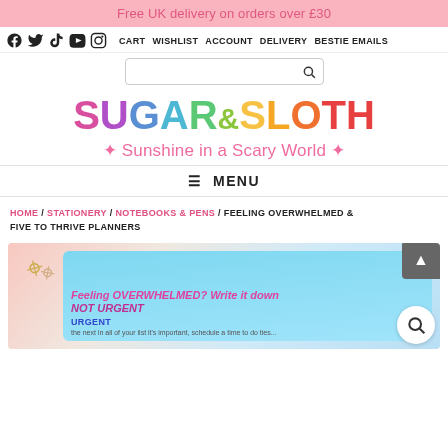Free UK delivery on orders over £30
Social icons: Facebook, Twitter, TikTok, YouTube, Instagram | CART WISHLIST ACCOUNT DELIVERY BESTIE EMAILS | Search bar
SUGAR&SLOTH
✦ Sunshine in a Scary World ✦
≡ MENU
HOME / STATIONERY / NOTEBOOKS & PENS / FEELING OVERWHELMED & FIVE TO THRIVE PLANNERS
[Figure (photo): Photo of a Sugar & Sloth planner with light blue patterned cover. Text on planner reads: 'Feeling OVERWHELMED? Write it down NOT URGENT URGENT' with decorative illustrations. Gold paper clips visible on the left.]